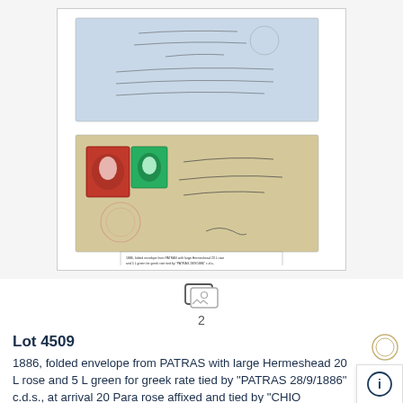[Figure (photo): Auction lot photograph showing two philatelic items: a blue folded letter/envelope with handwritten script and a tan/cream folded envelope bearing two large Hermeshead stamps (one rose/red, one green), with a printed label at the bottom describing the items.]
2
Lot 4509
1886, folded envelope from PATRAS with large Hermeshead 20 L rose and 5 L green for greek rate tied by "PATRAS 28/9/1886" c.d.s., at arrival 20 Para rose affixed and tied by "CHIO TURQUIE" c.d.s., including content, onlv few oft these Egeo mixed rate covers are known, showpiece, certificate